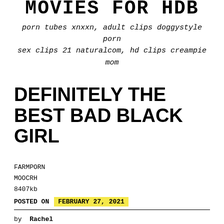MOVIES FOR HDB
porn tubes xnxxn, adult clips doggystyle porn sex clips 21 naturalcom, hd clips creampie mom
DEFINITELY THE BEST BAD BLACK GIRL
FARMPORN
MOOCRH
8407kb
POSTED ON  FEBRUARY 27, 2021
by Rachel